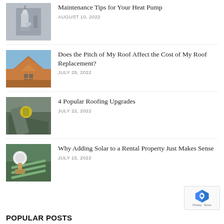[Figure (photo): Photo of hands working on heat pump pipes]
Maintenance Tips for Your Heat Pump
AUGUST 10, 2022
[Figure (photo): Photo of an orange roof with house gables]
Does the Pitch of My Roof Affect the Cost of My Roof Replacement?
JULY 29, 2022
[Figure (photo): Photo of a worker in yellow vest laying roofing shingles]
4 Popular Roofing Upgrades
JULY 22, 2022
[Figure (photo): Photo of a worker installing solar panels on a roof]
Why Adding Solar to a Rental Property Just Makes Sense
JULY 15, 2022
POPULAR POSTS